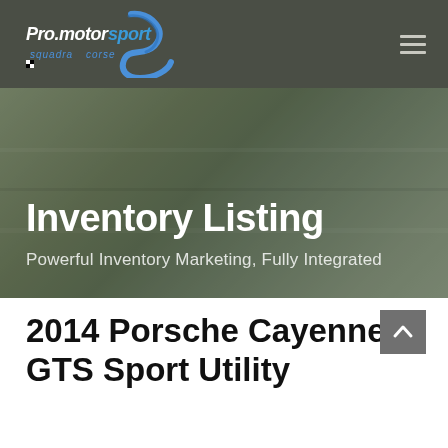Pro.motor Sport squadra corse — navigation header
[Figure (logo): Pro.motor Sport squadra corse logo with blue swoosh/S shape on dark olive header bar]
Inventory Listing
Powerful Inventory Marketing, Fully Integrated
2014 Porsche Cayenne GTS Sport Utility